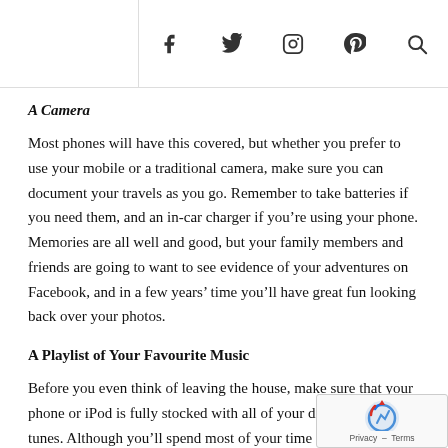Social icons: f (Facebook), bird (Twitter), camera (Instagram), p (Pinterest), search
A Camera
Most phones will have this covered, but whether you prefer to use your mobile or a traditional camera, make sure you can document your travels as you go. Remember to take batteries if you need them, and an in-car charger if you're using your phone. Memories are all well and good, but your family members and friends are going to want to see evidence of your adventures on Facebook, and in a few years' time you'll have great fun looking back over your photos.
A Playlist of Your Favourite Music
Before you even think of leaving the house, make sure that your phone or iPod is fully stocked with all of your desert island tunes. Although you'll spend most of your time talking, when the conversation runs dry you'll be glad of